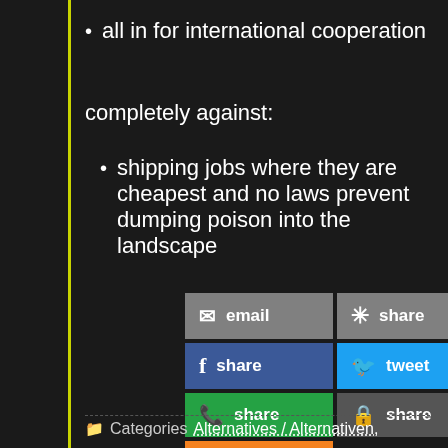all in for international cooperation
completely against:
shipping jobs where they are cheapest and no laws prevent dumping poison into the landscape
[Figure (infographic): Social sharing buttons: email (gray), share/Diaspora (gray), Facebook share (blue), tweet (light blue), WhatsApp share (green), encrypted share (dark gray), RSS feed (orange)]
Categories Alternatives / Alternativen,